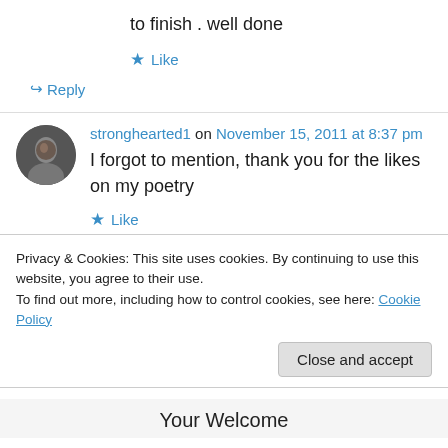to finish . well done
★ Like
↪ Reply
stronghearted1 on November 15, 2011 at 8:37 pm
I forgot to mention, thank you for the likes on my poetry
★ Like
↪ Reply
Privacy & Cookies: This site uses cookies. By continuing to use this website, you agree to their use.
To find out more, including how to control cookies, see here: Cookie Policy
Close and accept
Your Welcome